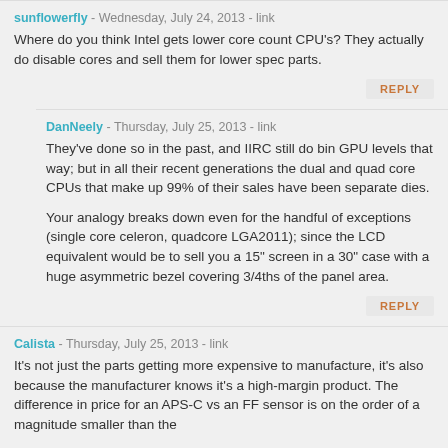sunflowerfly - Wednesday, July 24, 2013 - link
Where do you think Intel gets lower core count CPU's? They actually do disable cores and sell them for lower spec parts.
REPLY
DanNeely - Thursday, July 25, 2013 - link
They've done so in the past, and IIRC still do bin GPU levels that way; but in all their recent generations the dual and quad core CPUs that make up 99% of their sales have been separate dies.
Your analogy breaks down even for the handful of exceptions (single core celeron, quadcore LGA2011); since the LCD equivalent would be to sell you a 15" screen in a 30" case with a huge asymmetric bezel covering 3/4ths of the panel area.
REPLY
Calista - Thursday, July 25, 2013 - link
It's not just the parts getting more expensive to manufacture, it's also because the manufacturer knows it's a high-margin product. The difference in price for an APS-C vs an FF sensor is on the order of a magnitude smaller than the